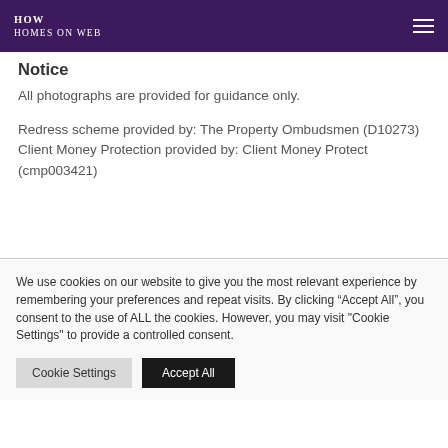HOW Homes on Web
Notice
All photographs are provided for guidance only.
Redress scheme provided by: The Property Ombudsmen (D10273)
Client Money Protection provided by: Client Money Protect (cmp003421)
We use cookies on our website to give you the most relevant experience by remembering your preferences and repeat visits. By clicking “Accept All”, you consent to the use of ALL the cookies. However, you may visit "Cookie Settings" to provide a controlled consent.
Cookie Settings | Accept All